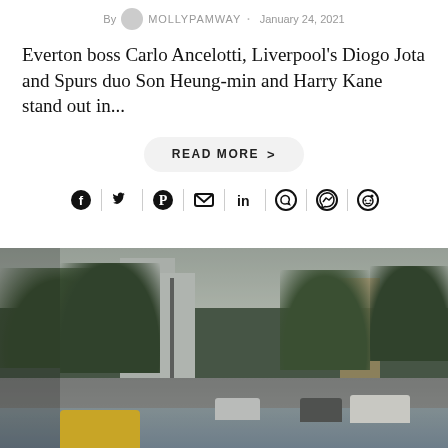By MOLLYPAMWAY · January 24, 2021
Everton boss Carlo Ancelotti, Liverpool's Diogo Jota and Spurs duo Son Heung-min and Harry Kane stand out in...
READ MORE >
[Figure (infographic): Social media share icons: Facebook, Twitter, Pinterest, Email, LinkedIn, WhatsApp, Messenger, Reddit]
[Figure (photo): A flooded street scene in an urban area. Yellow taxi cab in foreground, cars driving through floodwater, trees lining the street, tall buildings in background, overcast sky.]